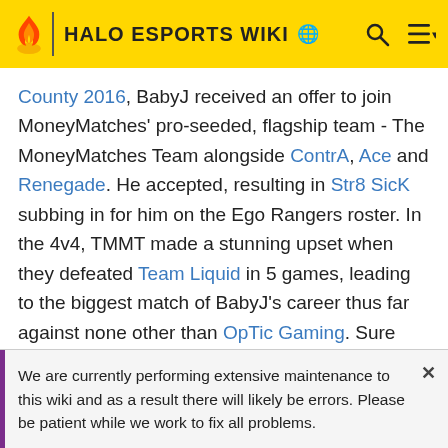HALO ESPORTS WIKI
County 2016, BabyJ received an offer to join MoneyMatches' pro-seeded, flagship team - The MoneyMatches Team alongside ContrA, Ace and Renegade. He accepted, resulting in Str8 SicK subbing in for him on the Ego Rangers roster. In the 4v4, TMMT made a stunning upset when they defeated Team Liquid in 5 games, leading to the biggest match of BabyJ's career thus far against none other than OpTic Gaming. Sure enough, the Green Wall breezed through with a quick 3-0, sending TMMT to Losers. What came next was an unexpected thrashing from the popular am squad Most
We are currently performing extensive maintenance to this wiki and as a result there will likely be errors. Please be patient while we work to fix all problems.